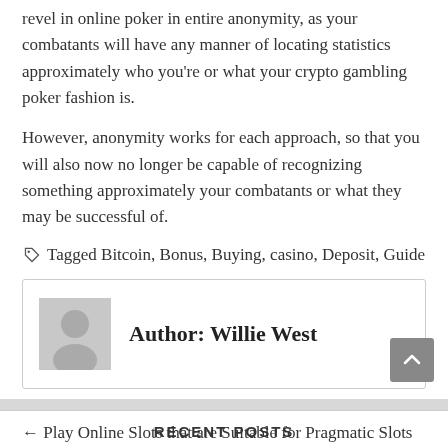revel in online poker in entire anonymity, as your combatants will have any manner of locating statistics approximately who you're or what your crypto gambling poker fashion is.
However, anonymity works for each approach, so that you will also now no longer be capable of recognizing something approximately your combatants or what they may be successful of.
Tagged Bitcoin, Bonus, Buying, casino, Deposit, Guide
Author: Willie West
← Play Online Slots that are Suitable for Pragmatic Slots Players
Earning online profit – Casino Available →
RECENT POSTS